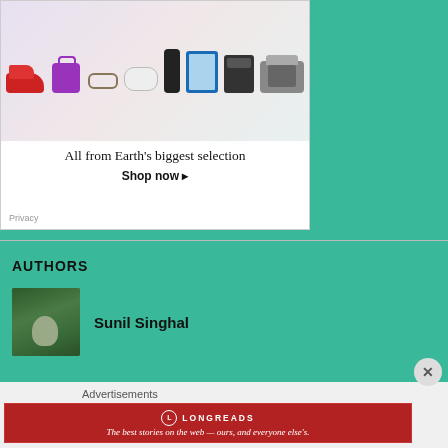[Figure (photo): Amazon advertisement with products including red sneakers, purple bag, Xbox controller, Amazon Echo speaker, Kindle Fire tablet with blue case, Amazon Echo Dot, and slow cooker/crockpot]
All from Earth's biggest selection
Shop now ▸
Privacy
AUTHORS
[Figure (photo): Small photo of author Sunil Singhal outdoors in green/wooded setting]
Sunil Singhal
Advertisements
[Figure (logo): Longreads advertisement banner in red: circular L logo, LONGREADS text, tagline 'The best stories on the web — ours, and everyone else's.']